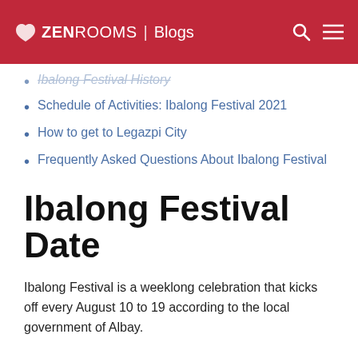ZEN ROOMS | Blogs
Ibalong Festival History (partial, cut off)
Schedule of Activities: Ibalong Festival 2021
How to get to Legazpi City
Frequently Asked Questions About Ibalong Festival
Ibalong Festival Date
Ibalong Festival is a weeklong celebration that kicks off every August 10 to 19 according to the local government of Albay.